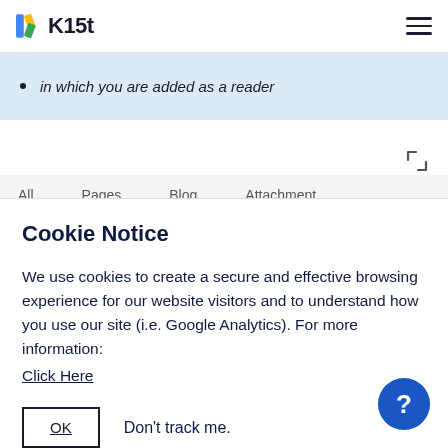K15t
in which you are added as a reader
All   Pages   Blog   Attachment
Cookie Notice
We use cookies to create a secure and effective browsing experience for our website visitors and to understand how you use our site (i.e. Google Analytics). For more information:
Click Here
OK   Don't track me.